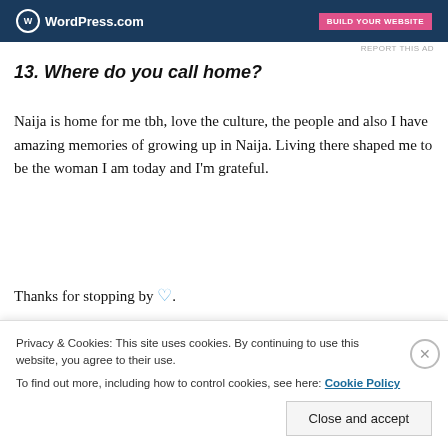[Figure (screenshot): WordPress.com advertisement banner at top with logo and 'Build Your Website' button]
REPORT THIS AD
13. Where do you call home?
Naija is home for me tbh, love the culture, the people and also I have amazing memories of growing up in Naija. Living there shaped me to be the woman I am today and I'm grateful.
Thanks for stopping by 💙.
Advertisements
[Figure (screenshot): Jetpack advertisement banner with green background and Jetpack logo]
Privacy & Cookies: This site uses cookies. By continuing to use this website, you agree to their use.
To find out more, including how to control cookies, see here: Cookie Policy
Close and accept